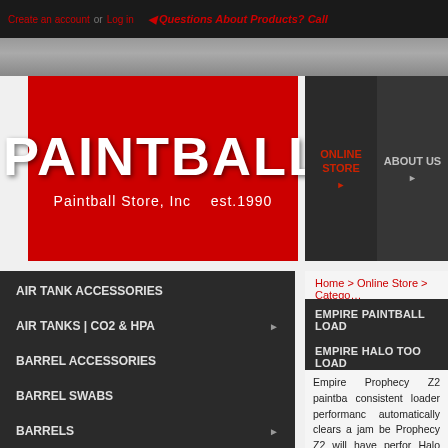Create an account or Log in | Questions About Products? Call
[Figure (logo): Paintball Store Inc logo — red background with white PAINTBALL text, est. 1990]
ONLINE STORE
ABOUT US
Home > Online Store > Category
EMPIRE PAINTBALL LOAD
EMPIRE HALO TOO LOAD
AIR TANK ACCESSORIES
AIR TANKS | CO2 & HPA
BARREL ACCESSORIES
BARREL SWABS
BARRELS
GEAR BAGS & CASES
GOGGLE ACCESSORIES
GOGGLES
Empire Prophecy Z2 paintball consistent loader performance automatically clears a jam be Prophecy Z2 will have perform Halo Too Paintball Loader is t half the price of some top pai an easy choice for most playe marker to throw plenty of paint